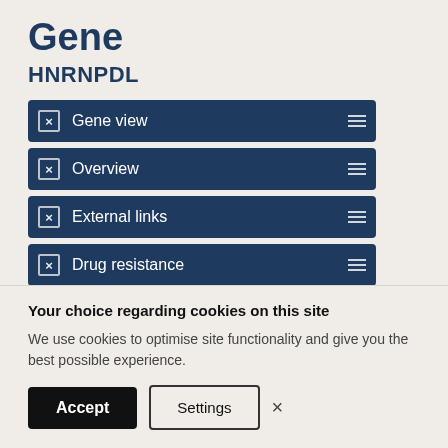Gene
HNRNPDL
Gene view
Overview
External links
Drug resistance
Tissue distribution
Genome browser
Mutation distribution
Your choice regarding cookies on this site
We use cookies to optimise site functionality and give you the best possible experience.
Accept   Settings   ×